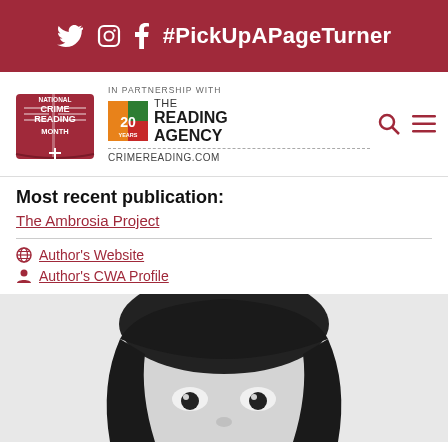Twitter Instagram Facebook #PickUpAPageTurner
[Figure (logo): National Crime Reading Month logo and The Reading Agency 20 Years partnership logo with CRIMEREADING.COM]
Most recent publication:
The Ambrosia Project
Author's Website
Author's CWA Profile
[Figure (photo): Black and white close-up photo of a woman with dark hair and bangs looking at the camera]